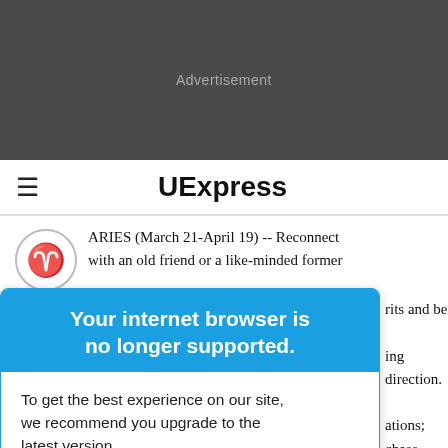[Figure (other): Dark gray advertisement banner at top of page]
Advertisement
≡  UExpress
ARIES (March 21-April 19) -- Reconnect with an old friend or a like-minded former
[Figure (illustration): Aries zodiac symbol in a circle]
Your internet browser is no longer supported.
To get the best experience on our site, we recommend you upgrade to the latest version.
rits and be
ing direction.
ations; chase
TAURUS (April 20-May 20) --